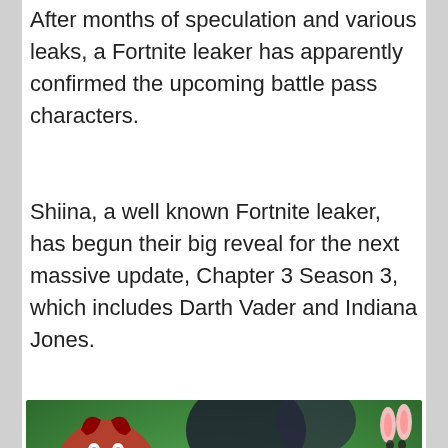After months of speculation and various leaks, a Fortnite leaker has apparently confirmed the upcoming battle pass characters.
Shiina, a well known Fortnite leaker, has begun their big reveal for the next massive update, Chapter 3 Season 3, which includes Darth Vader and Indiana Jones.
[Figure (illustration): Mobile.ini advertisement banner featuring colorful game characters, 'MOBILE.INI' logo in blue blocky letters with yellow INI section, and an orange 'FREE PLAY ONLINE' circular badge with a play button]